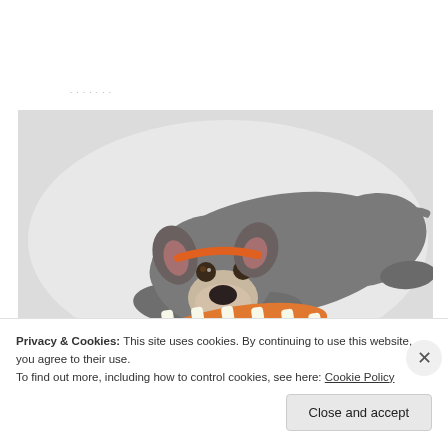[Figure (photo): A gray and white pit bull type dog lying down on a white background, resting its head on an orange and white striped rope toy, looking at the camera. The dog wears an orange collar.]
Privacy & Cookies: This site uses cookies. By continuing to use this website, you agree to their use.
To find out more, including how to control cookies, see here: Cookie Policy
Close and accept